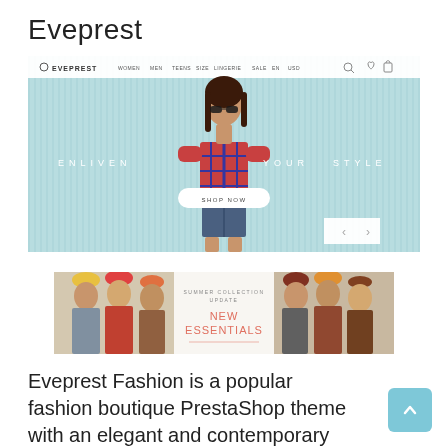Eveprest
[Figure (screenshot): Eveprest fashion PrestaShop theme hero banner showing a woman in plaid shirt with text ENLIVEN YOUR STYLE and SHOP NOW button on light blue background]
[Figure (screenshot): Secondary banner section showing fashion photos of groups of women and a Summer Collection Update NEW ESSENTIALS promotional banner]
Eveprest Fashion is a popular fashion boutique PrestaShop theme with an elegant and contemporary design valued among owners of